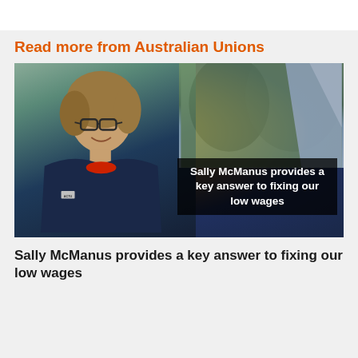Read more from Australian Unions
[Figure (photo): Photo of Sally McManus, a woman with glasses and short brown hair, wearing a dark navy blazer and red top, standing outdoors. Overlaid text reads: Sally McManus provides a key answer to fixing our low wages]
Sally McManus provides a key answer to fixing our low wages